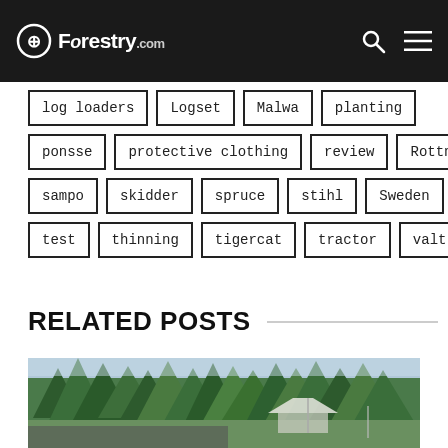Forestry.com
log loaders
Logset
Malwa
planting
ponsse
protective clothing
review
Rottne
sampo
skidder
spruce
stihl
Sweden
test
thinning
tigercat
tractor
valtra
RELATED POSTS
[Figure (photo): Outdoor forestry event with tall pine trees and crowd/tents in the background]